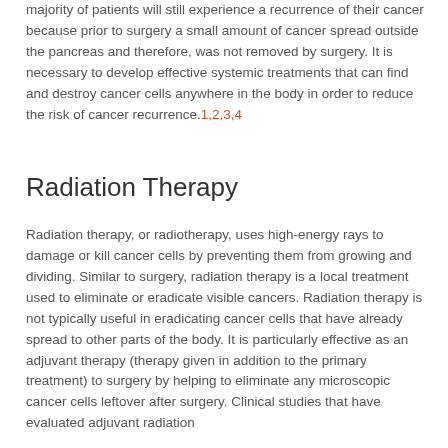majority of patients will still experience a recurrence of their cancer because prior to surgery a small amount of cancer spread outside the pancreas and therefore, was not removed by surgery. It is necessary to develop effective systemic treatments that can find and destroy cancer cells anywhere in the body in order to reduce the risk of cancer recurrence.1,2,3,4
Radiation Therapy
Radiation therapy, or radiotherapy, uses high-energy rays to damage or kill cancer cells by preventing them from growing and dividing. Similar to surgery, radiation therapy is a local treatment used to eliminate or eradicate visible cancers. Radiation therapy is not typically useful in eradicating cancer cells that have already spread to other parts of the body. It is particularly effective as an adjuvant therapy (therapy given in addition to the primary treatment) to surgery by helping to eliminate any microscopic cancer cells leftover after surgery. Clinical studies that have evaluated adjuvant radiation